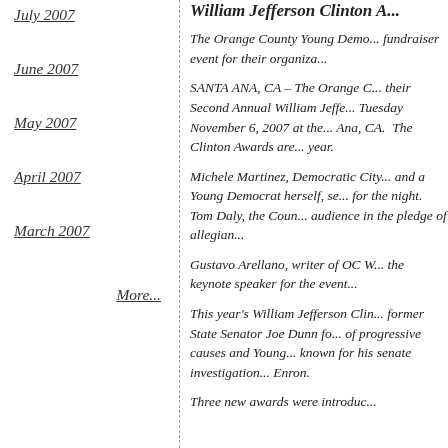July 2007
June 2007
May 2007
April 2007
March 2007
More...
William Jefferson Clinton A...
The Orange County Young Demo... fundraiser event for their organiza...
SANTA ANA, CA – The Orange C... their Second Annual William Jeffe... Tuesday November 6, 2007 at the... Ana, CA. The Clinton Awards are... year.
Michele Martinez, Democratic City... and a Young Democrat herself, se... for the night. Tom Daly, the Coun... audience in the pledge of allegian...
Gustavo Arellano, writer of OC W... the keynote speaker for the event...
This year's William Jefferson Clin... former State Senator Joe Dunn fo... of progressive causes and Young... known for his senate investigation... Enron.
Three new awards were introduc...